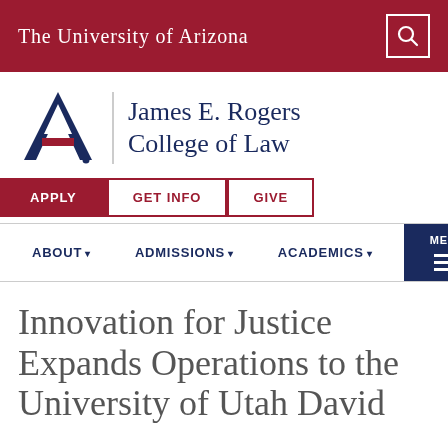The University of Arizona
[Figure (logo): University of Arizona James E. Rogers College of Law logo with block A and college name]
APPLY   GET INFO   GIVE
ABOUT ▾   ADMISSIONS ▾   ACADEMICS ▾   MENU
Innovation for Justice Expands Operations to the University of Utah David